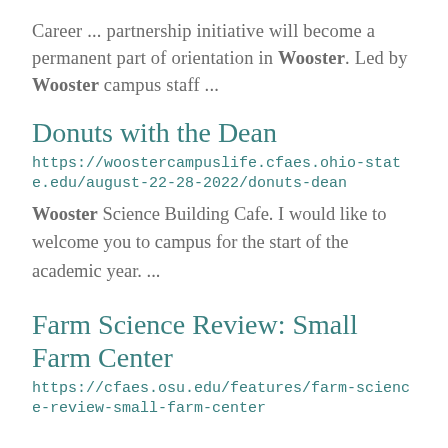Career ... partnership initiative will become a permanent part of orientation in Wooster. Led by Wooster campus staff ...
Donuts with the Dean
https://woostercampuslife.cfaes.ohio-state.edu/august-22-28-2022/donuts-dean
Wooster Science Building Cafe. I would like to welcome you to campus for the start of the academic year. ...
Farm Science Review: Small Farm Center
https://cfaes.osu.edu/features/farm-science-review-small-farm-center